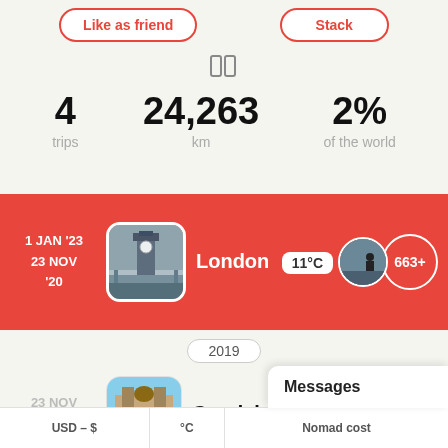Like as friend | Stack
[Figure (other): Two vertical rectangle column icon]
4 trips
24,263 km
2% of the world
1 JAN '23 23 NOV '20 — London 11°C 663+
2019
23 NOV '20 — Guadalajara 29°C 22+
USD – $ °C Nomad cost
Messages